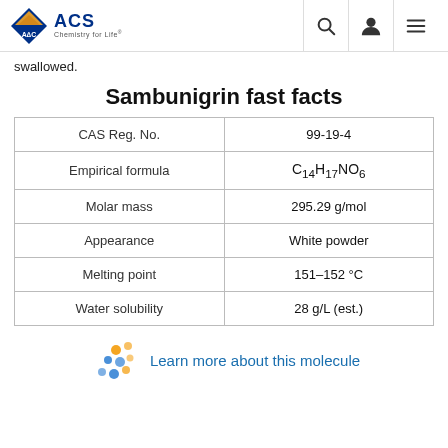ACS Chemistry for Life
swallowed.
Sambunigrin fast facts
|  |  |
| --- | --- |
| CAS Reg. No. | 99-19-4 |
| Empirical formula | C14H17NO6 |
| Molar mass | 295.29 g/mol |
| Appearance | White powder |
| Melting point | 151–152 °C |
| Water solubility | 28 g/L (est.) |
Learn more about this molecule